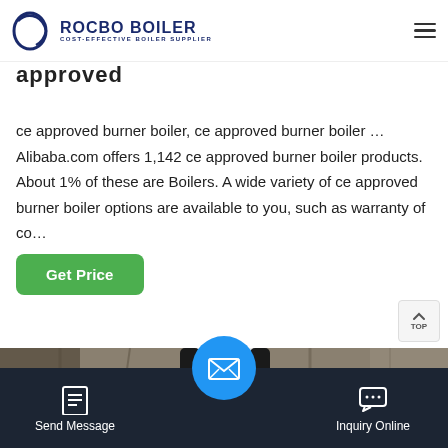ROCBO BOILER — COST-EFFECTIVE BOILER SUPPLIER
approved
ce approved burner boiler, ce approved burner boiler … Alibaba.com offers 1,142 ce approved burner boiler products. About 1% of these are Boilers. A wide variety of ce approved burner boiler options are available to you, such as warranty of co…
[Figure (photo): Industrial boiler unit in a factory setting, white and black cylindrical boiler with blue panel, warehouse background]
Send Message | Inquiry Online